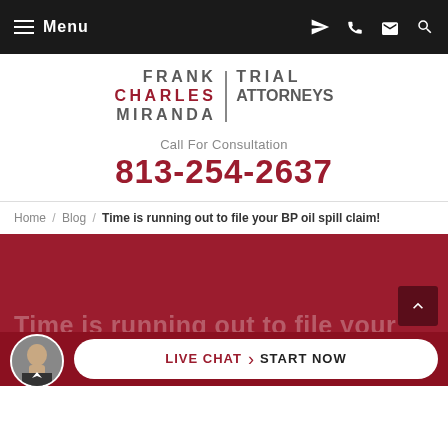Menu
[Figure (logo): Frank Charles Miranda Trial Attorneys law firm logo with vertical divider bar]
Call For Consultation
813-254-2637
Home / Blog / Time is running out to file your BP oil spill claim!
Time is running out to file your BP oil spill claim!
LIVE CHAT › START NOW